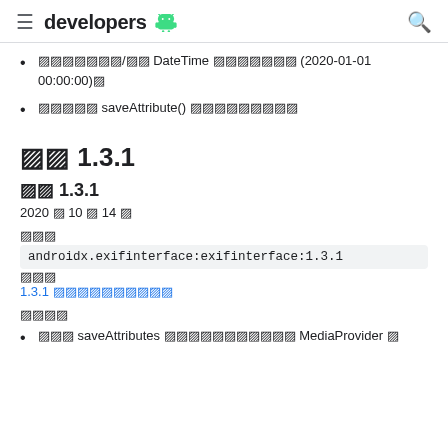≡  developers 🤖  🔍
󿿿󿿿󿿿󿿿/󿿿󿿿 DateTime 󿿿󿿿󿿿󿿿󿿿 (2020-01-01 00:00:00)󿿿
󿿿󿿿󿿿󿿿󿿿 saveAttribute() 󿿿󿿿󿿿󿿿󿿿󿿿󿿿󿿿
󿿿󿿿 1.3.1
󿿿󿿿 1.3.1
2020 󿿿 10 󿿿 14 󿿿
󿿿󿿿󿿿
androidx.exifinterface:exifinterface:1.3.1 󿿿󿿿 1.3.1 󿿿󿿿󿿿󿿿󿿿󿿿󿿿󿿿
󿿿󿿿󿿿󿿿
󿿿󿿿󿿿 saveAttributes 󿿿󿿿󿿿󿿿󿿿󿿿󿿿󿿿 MediaProvider 󿿿